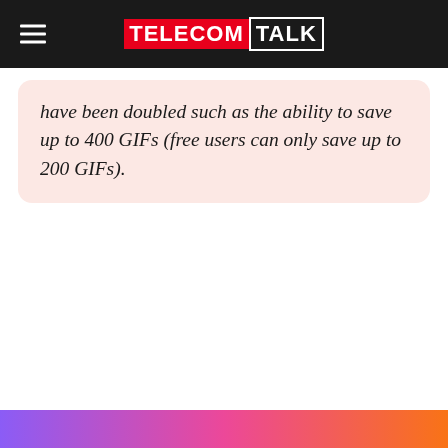TELECOMTALK
have been doubled such as the ability to save up to 400 GIFs (free users can only save up to 200 GIFs).
[Figure (other): Bottom gradient banner strip in purple-pink-orange gradient]